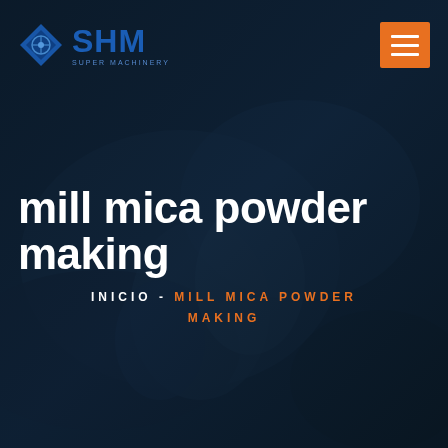[Figure (screenshot): Dark industrial background image with machinery/hands, overlaid with dark blue tint]
SHM | INICIO - MILL MICA POWDER MAKING
mill mica powder making
INICIO - MILL MICA POWDER MAKING